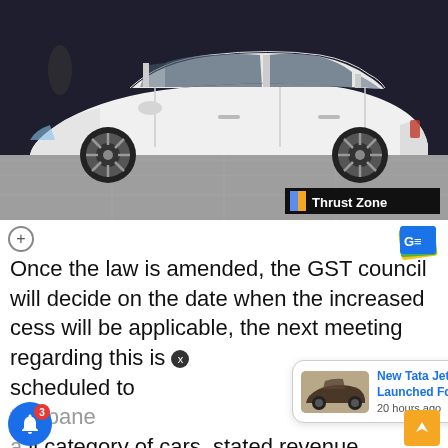[Figure (photo): Side profile of a white Mercedes-Benz E-Class sedan on a showroom floor with dark background. Thrust Zone watermark in bottom right corner.]
Once the law is amended, the GST council will decide on the date when the increased cess will be applicable, the next meeting regarding this is scheduled to [popup overlay] the panel [popup overlay] all category of cars, stated revenue secretary Hasmukh Adhia
[Figure (photo): Popup notification showing a dark SUV (Tata Safari) with text: New Tata Jet Edition Launched For Safari, 20 hours ago]